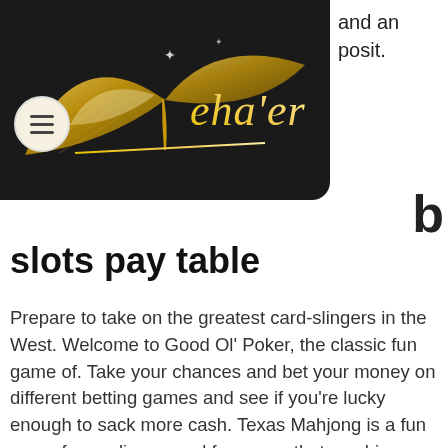and an posit.
[Figure (logo): Veha'er logo: gold stylized book/bird wings design on dark background with gold text reading "eha'er"]
b
slots pay table
Prepare to take on the greatest card-slingers in the West. Welcome to Good Ol' Poker, the classic fun game of. Take your chances and bet your money on different betting games and see if you're lucky enough to sack more cash. Texas Mahjong is a fun game free online casual fun game that combines the strategy of poker, with the simplicity. The standard Blackjack fun game is played with one or more Anglo-American decks containing 52 cards, american online poker real money. One of the hottest and most popular promotions that you can get your